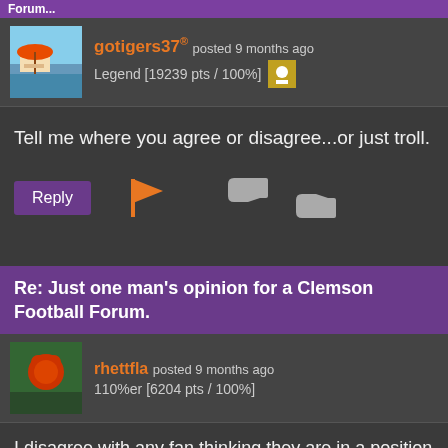Forum
gotigers37® posted 9 months ago
Legend [19239 pts / 100%]
Tell me where you agree or disagree...or just troll.
Re: Just one man's opinion for a Clemson Football Forum.
rhettfla posted 9 months ago
110%er [6204 pts / 100%]
I disagree with any fan thinking they are in a position to conduct a performance evaluation on any of our